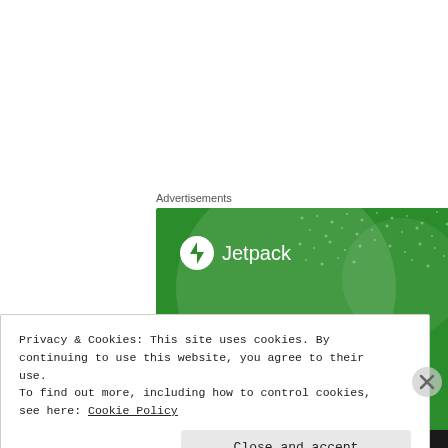Advertisements
[Figure (illustration): Jetpack advertisement banner with green background showing Jetpack logo and the text 'The best real-time WordPress backup plugin']
Privacy & Cookies: This site uses cookies. By continuing to use this website, you agree to their use.
To find out more, including how to control cookies, see here: Cookie Policy
Close and accept